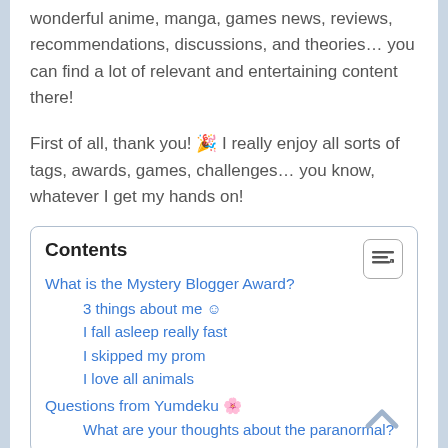wonderful anime, manga, games news, reviews, recommendations, discussions, and theories… you can find a lot of relevant and entertaining content there!
First of all, thank you! 🎉 I really enjoy all sorts of tags, awards, games, challenges… you know, whatever I get my hands on!
Contents
What is the Mystery Blogger Award?
3 things about me ☺
I fall asleep really fast
I skipped my prom
I love all animals
Questions from Yumdeku 🌸
What are your thoughts about the paranormal?